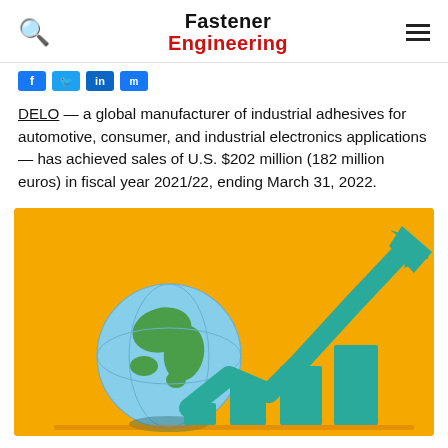Fastener Engineering
[Figure (logo): Social media share icons (Facebook, LinkedIn, etc.)]
DELO — a global manufacturer of industrial adhesives for automotive, consumer, and industrial electronics applications — has achieved sales of U.S. $202 million (182 million euros) in fiscal year 2021/22, ending March 31, 2022.
[Figure (illustration): Illustration on yellow/gold background showing a globe and a bar chart with a rising teal arrow pointing upward to the right, representing global sales growth.]